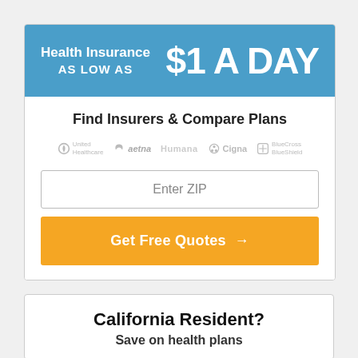Health Insurance AS LOW AS $1 A DAY
Find Insurers & Compare Plans
[Figure (logo): Insurance company logos: United Healthcare, aetna, Humana, Cigna, BlueCross BlueShield — displayed in grey]
Enter ZIP
Get Free Quotes →
California Resident?
Save on health plans